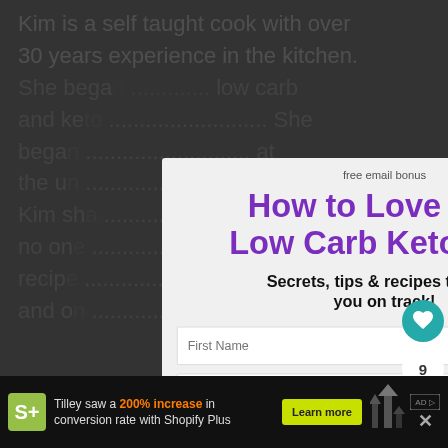Kim is a self taught cook with over 30 years experience in the kitchen. She began ... low carb and keto ... She began ... at the un... 2014. Kim sh... recipes no one... recipe... atio... and o...
[Figure (screenshot): Modal popup overlay with email signup form. Title: 'How to Love Your Low Carb Keto Diet!' Subtitle: 'Secrets, tips & recipes to keep you on track!' Form fields: First Name, Email Address. Button: YES, I WANT THIS. Close button (X) top right. Label: 'free email bonus']
[Figure (infographic): Social sharing sidebar with teal heart icon, count '9', and share icon]
[Figure (screenshot): Advertisement bar at bottom: Shopify Plus ad. Text: 'Tilley saw a 200% increase in conversion rate with Shopify Plus'. Learn more button. Arrow graphic. Close X button.]